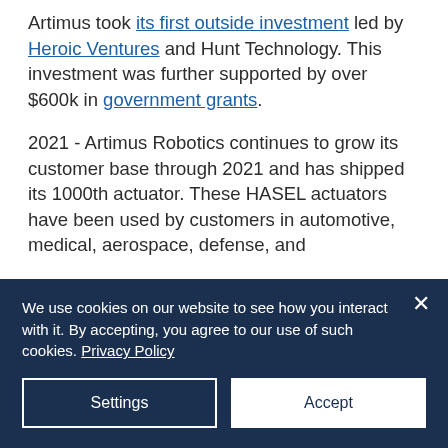Artimus took its first outside investment led by Heroic Ventures and Hunt Technology. This investment was further supported by over $600k in government grants.
2021 - Artimus Robotics continues to grow its customer base through 2021 and has shipped its 1000th actuator. These HASEL actuators have been used by customers in automotive, medical, aerospace, defense, and
We use cookies on our website to see how you interact with it. By accepting, you agree to our use of such cookies. Privacy Policy